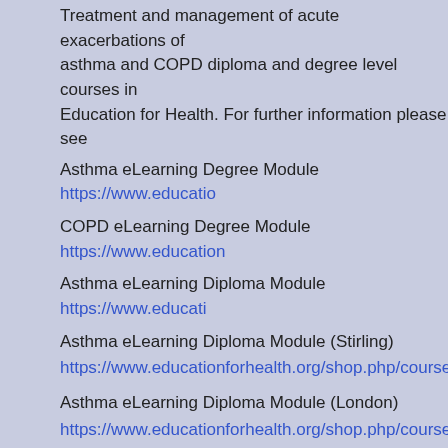Treatment and management of acute exacerbations of asthma and COPD diploma and degree level courses in Education for Health. For further information please see
Asthma eLearning Degree Module https://www.educatio...
COPD eLearning Degree Module https://www.education...
Asthma eLearning Diploma Module https://www.educati...
Asthma eLearning Diploma Module (Stirling)
https://www.educationforhealth.org/shop.php/courses/11...
Asthma eLearning Diploma Module (London)
https://www.educationforhealth.org/shop.php/courses/17...
COPD eLearning Diploma Module
https://www.educationforhealth.org/shop.php/courses/14...
COPD eLearning Diploma Module (Stirling)
https://www.educationforhealth.org/shop.php/courses/15...
Essentials of Asthma Workshop